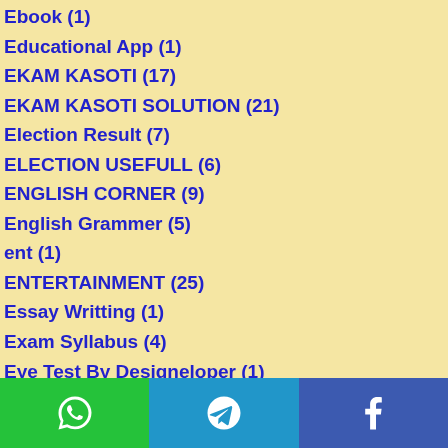Ebook (1)
Educational App (1)
EKAM KASOTI (17)
EKAM KASOTI SOLUTION (21)
Election Result (7)
ELECTION USEFULL (6)
ENGLISH CORNER (9)
English Grammer (5)
ent (1)
ENTERTAINMENT (25)
Essay Writting (1)
Exam Syllabus (4)
Eye Test By Designeloper (1)
Festival Application (20)
FIT INDIA (3)
Food Security Allowance (2)
Funny App (1)
[Figure (infographic): Bottom navigation bar with three social media icons: WhatsApp (green), Telegram (blue), Facebook (dark blue)]